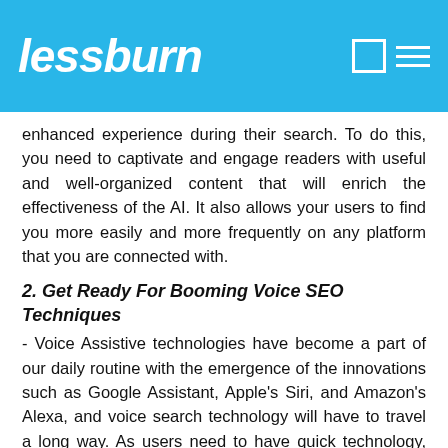lessburn
enhanced experience during their search. To do this, you need to captivate and engage readers with useful and well-organized content that will enrich the effectiveness of the AI. It also allows your users to find you more easily and more frequently on any platform that you are connected with.
2. Get Ready For Booming Voice SEO Techniques
- Voice Assistive technologies have become a part of our daily routine with the emergence of the innovations such as Google Assistant, Apple's Siri, and Amazon's Alexa, and voice search technology will have to travel a long way. As users need to have quick technology, voice search has also become more popular and people are starting to love it. The percentage of households owning a voice assistive speaker by 2023 is estimated to be 55%.